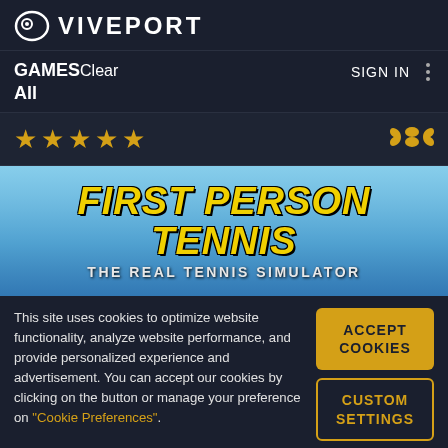VIVEPORT
GAMESClear All
SIGN IN
[Figure (screenshot): Five gold star rating icons followed by an infinity symbol icon]
[Figure (screenshot): First Person Tennis - The Real Tennis Simulator game banner with yellow italic text on a blue sky background]
This site uses cookies to optimize website functionality, analyze website performance, and provide personalized experience and advertisement. You can accept our cookies by clicking on the button or manage your preference on "Cookie Preferences".
ACCEPT COOKIES
CUSTOM SETTINGS